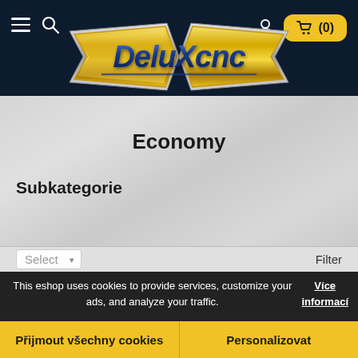≡ 🔍  [person icon] 🛒 (0)
[Figure (logo): DeluxCNC logo — gold bowtie-shaped badge with blue metallic 3D text reading 'DeluXcnc']
Economy
Subkategorie
Select   ▾   Filter
This eshop uses cookies to provide services, customize your ads, and analyze your traffic. Více informací
Přijmout všechny cookies
Personalizovat